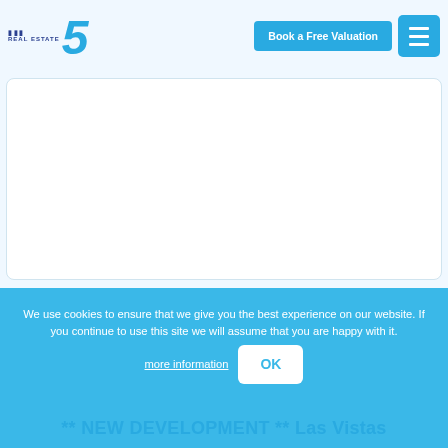REAL ESTATE 5 | Book a Free Valuation | Menu
[Figure (screenshot): White card / image placeholder area]
We use cookies to ensure that we give you the best experience on our website. If you continue to use this site we will assume that you are happy with it.  more information  OK
** NEW DEVELOPMENT ** Las Vistas